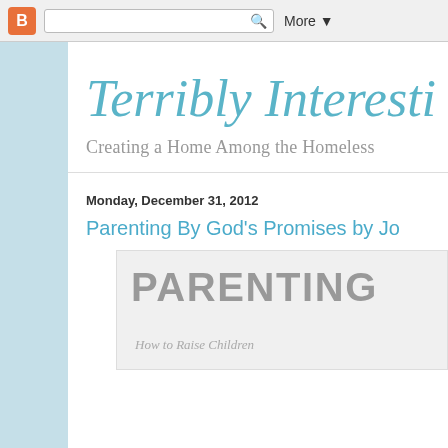Blogger browser bar with search and More button
Terribly Interesti
Creating a Home Among the Homeless
Monday, December 31, 2012
Parenting By God's Promises by Jo
[Figure (photo): Book cover showing 'PARENTING' in large gray bold text with subtitle 'How to Raise Children' in italic script below]